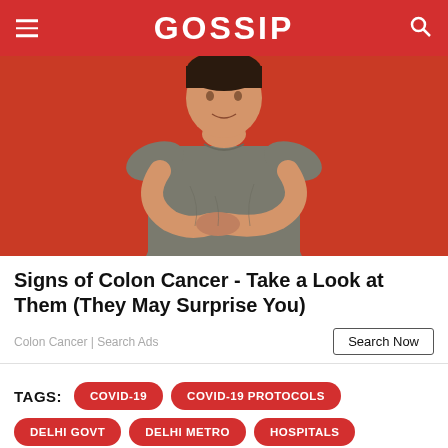GOSSIP
[Figure (photo): Young Asian man in grey t-shirt holding his stomach/abdomen area, smiling slightly, against a red background.]
Signs of Colon Cancer - Take a Look at Them (They May Surprise You)
Colon Cancer | Search Ads
Search Now
TAGS: COVID-19  COVID-19 PROTOCOLS  DELHI GOVT  DELHI METRO  HOSPITALS